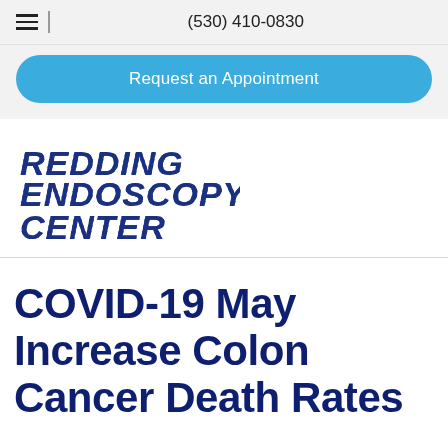(530) 410-0830
Request an Appointment
[Figure (logo): Redding Endoscopy Center logo in dark navy blue, bold italic uppercase stacked text]
COVID-19 May Increase Colon Cancer Death Rates